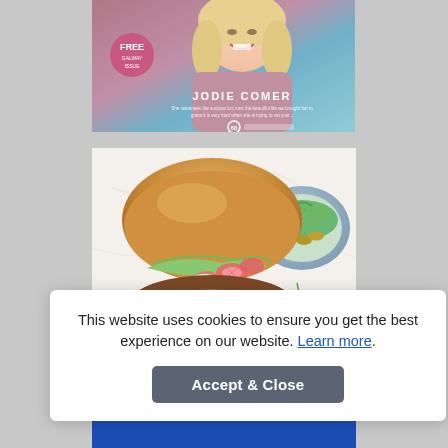[Figure (photo): Magazine cover featuring Jodie Comer with a pink/teal background, a FREE badge, her name, and a magazine logo at the bottom]
[Figure (photo): Food photo of a gourmet burger with radish slices, greens, mayo, and dill on a brioche bun, with a side bowl of salad and pickles]
This website uses cookies to ensure you get the best experience on our website. Learn more.
Accept & Close
[Figure (photo): Partial view of a blue product/packaging at the bottom of the page]